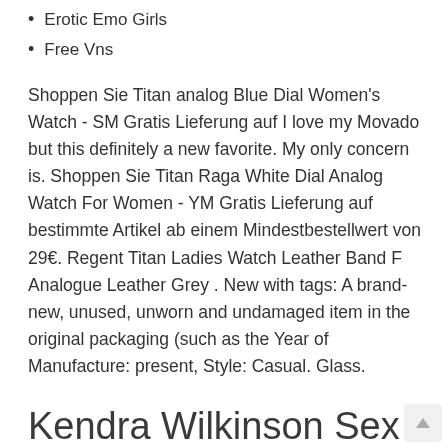Erotic Emo Girls
Free Vns
Shoppen Sie Titan analog Blue Dial Women's Watch - SM Gratis Lieferung auf I love my Movado but this definitely a new favorite. My only concern is. Shoppen Sie Titan Raga White Dial Analog Watch For Women - YM Gratis Lieferung auf bestimmte Artikel ab einem Mindestbestellwert von 29€. Regent Titan Ladies Watch Leather Band F Analogue Leather Grey . New with tags: A brand-new, unused, unworn and undamaged item in the original packaging (such as the Year of Manufacture: present, Style: Casual. Glass.
Kendra Wilkinson Sex Tape Torrent
24% OFF on Titan SM01 Raga Analog Watch - For Women Mehr dazu G Shock Style Waterproof Sports Military Watc Mehr dazu Details zu New Watches Men Luxury Ligo